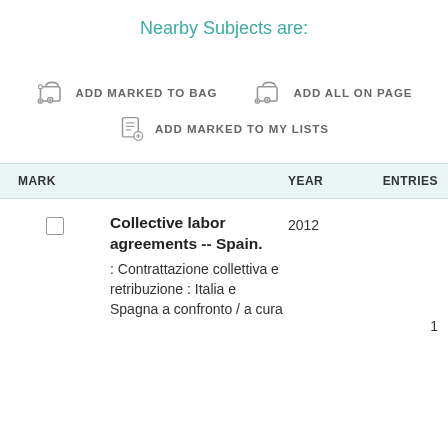Nearby Subjects are:
ADD MARKED TO BAG
ADD ALL ON PAGE
ADD MARKED TO MY LISTS
| MARK |  | YEAR | ENTRIES |
| --- | --- | --- | --- |
| ☐ | Collective labor agreements -- Spain.
: Contrattazione collettiva e retribuzione : Italia e Spagna a confronto / a cura | 2012 | 1 |